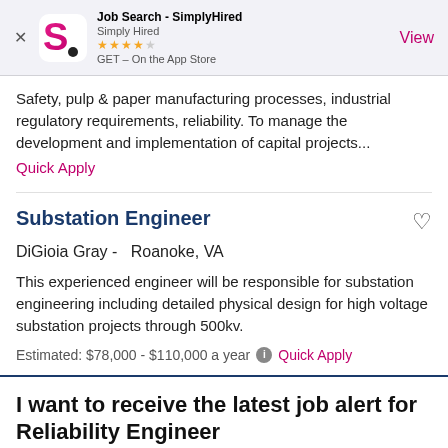[Figure (screenshot): SimplyHired app store banner with logo, star rating, and View button]
Safety, pulp & paper manufacturing processes, industrial regulatory requirements, reliability. To manage the development and implementation of capital projects...
Quick Apply
Substation Engineer
DiGioia Gray -   Roanoke, VA
This experienced engineer will be responsible for substation engineering including detailed physical design for high voltage substation projects through 500kv.
Estimated: $78,000 - $110,000 a year  ℹ  Quick Apply
I want to receive the latest job alert for Reliability Engineer